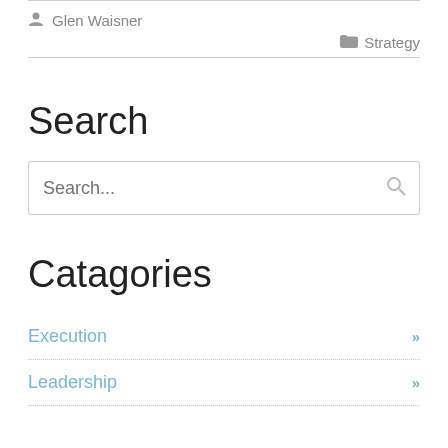Glen Waisner
Strategy
Search
Catagories
Execution »
Leadership »